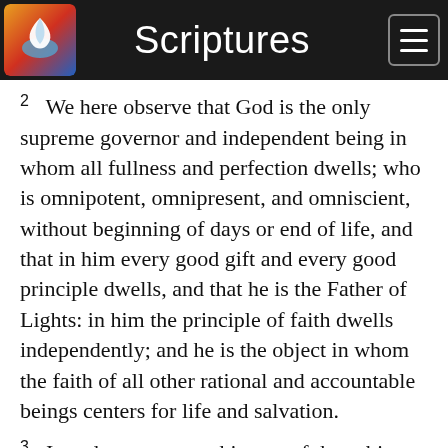Scriptures
2  We here observe that God is the only supreme governor and independent being in whom all fullness and perfection dwells; who is omnipotent, omnipresent, and omniscient, without beginning of days or end of life, and that in him every good gift and every good principle dwells, and that he is the Father of Lights: in him the principle of faith dwells independently; and he is the object in whom the faith of all other rational and accountable beings centers for life and salvation.
3  In order to present this part of the subject in a clear and conspicuous point of light, it is necessary to go back and show the evidences which mankind have had, and the foundation on which these evidences are, or were, based since the creation, to